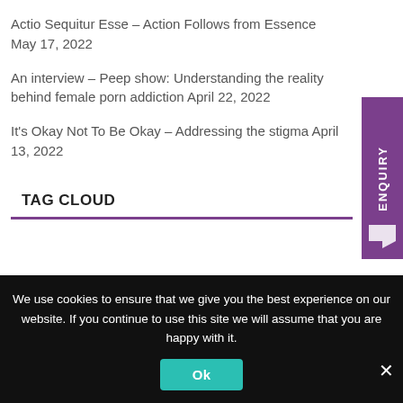Actio Sequitur Esse – Action Follows from Essence May 17, 2022
An interview – Peep show: Understanding the reality behind female porn addiction April 22, 2022
It's Okay Not To Be Okay – Addressing the stigma April 13, 2022
TAG CLOUD
We use cookies to ensure that we give you the best experience on our website. If you continue to use this site we will assume that you are happy with it.